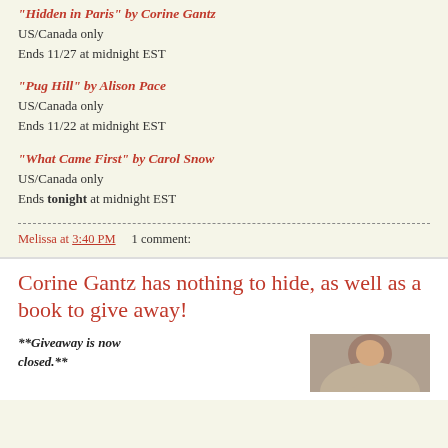"Hidden in Paris" by Corine Gantz
US/Canada only
Ends 11/27 at midnight EST
"Pug Hill" by Alison Pace
US/Canada only
Ends 11/22 at midnight EST
"What Came First" by Carol Snow
US/Canada only
Ends tonight at midnight EST
Melissa at 3:40 PM    1 comment:
Corine Gantz has nothing to hide, as well as a book to give away!
**Giveaway is now closed.**
[Figure (photo): Photo of a person, partially visible at bottom right of page]